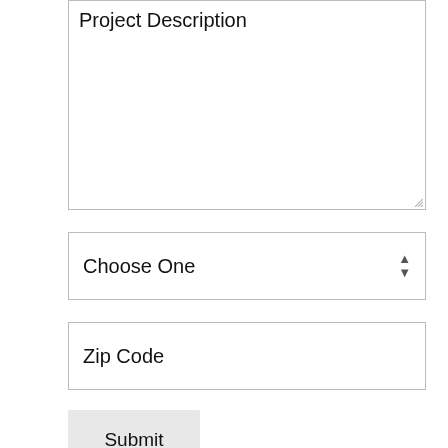Project Description
Choose One
Zip Code
Submit
[Figure (logo): BBB Accredited Business, Rating A+ badge with teal background]
[Figure (illustration): Red circular phone call button]
[Figure (logo): Featured on Houzz badge with green border and Houzz leaf logo]